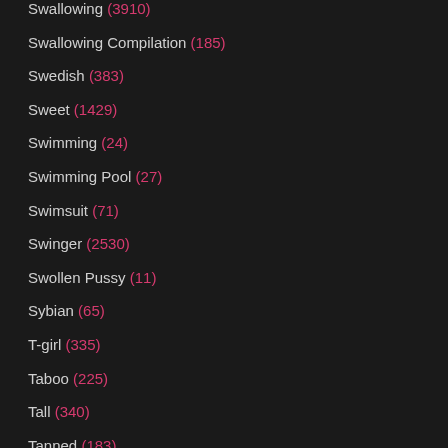Swallowing (3910)
Swallowing Compilation (185)
Swedish (383)
Sweet (1429)
Swimming (24)
Swimming Pool (27)
Swimsuit (71)
Swinger (2530)
Swollen Pussy (11)
Sybian (65)
T-girl (335)
Taboo (225)
Tall (340)
Tanned (183)
Tasty (79)
Tattoo (2530)